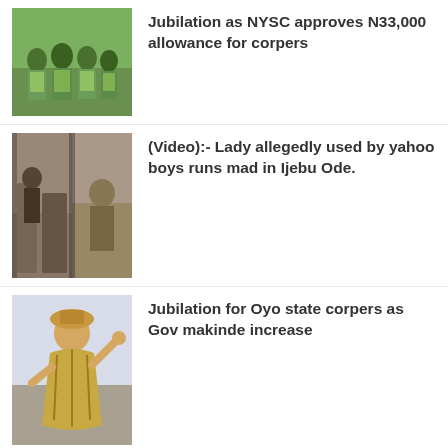[Figure (photo): Group of people in green NYSC uniforms]
Jubilation as NYSC approves N33,000 allowance for corpers
[Figure (photo): Two-panel image of a lady in outdoor setting]
(Video):- Lady allegedly used by yahoo boys runs mad in Ijebu Ode.
[Figure (photo): Man in traditional attire raising hand]
Jubilation for Oyo state corpers as Gov makinde increase
FACEBOOK COMMENT
0 COMMENTS